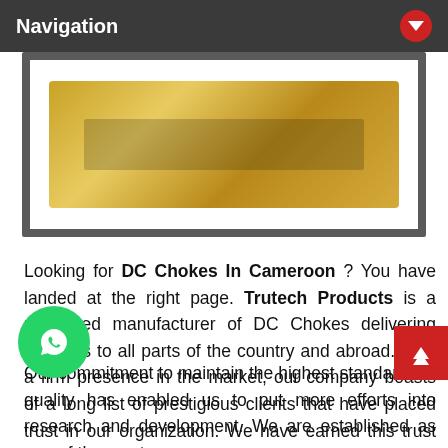Navigation
[Figure (photo): Product image of DC Chokes — a brass/golden colored choke component shown on white background inside a dark frame]
Looking for DC Chokes In Cameroon ? You have landed at the right page. Trutech Products is a renowned manufacturer of DC Chokes delivering products to all parts of the country and abroad. With a firm presence in the market, our company boasts of a long list of prestigious clients that have placed trust in our organization. We have earned this trust by pushing the conventional boundaries of innovation and technology to deliver something better every single time.
Our commitment to maintain the highest standards of quality has enabled us to put more efforts into research and development. We are established as one of the most